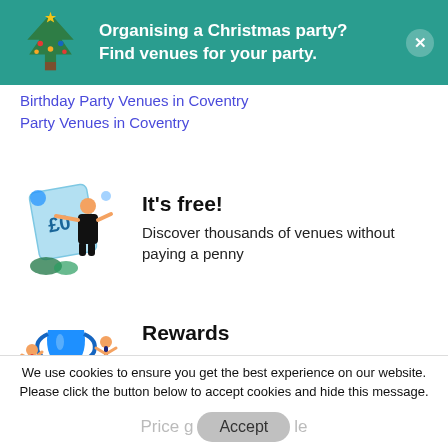[Figure (illustration): Teal/green banner with Christmas tree emoji on the left and a close (X) button on the right. Text reads: Organising a Christmas party? Find venues for your party.]
Birthday Party Venues in Coventry
Party Venues in Coventry
[Figure (illustration): Illustration of a person in black holding a large £0 tag with blue circles and green leaves]
It's free!
Discover thousands of venues without paying a penny
[Figure (illustration): Illustration of people celebrating with a blue trophy cup]
Rewards
Earn voucher rewards for booking through us
We use cookies to ensure you get the best experience on our website. Please click the button below to accept cookies and hide this message.
Price g...  Accept  ...le